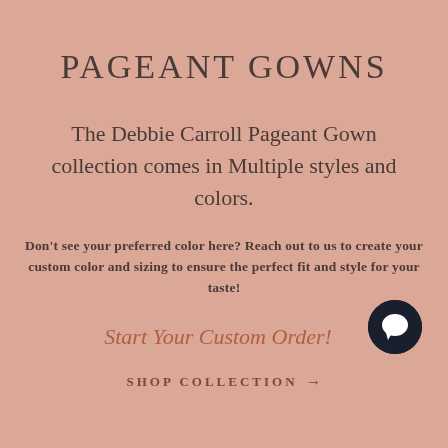PAGEANT GOWNS
The Debbie Carroll Pageant Gown collection comes in Multiple styles and colors.
Don't see your preferred color here? Reach out to us to create your custom color and sizing to ensure the perfect fit and style for your taste!
Start Your Custom Order!
SHOP COLLECTION →